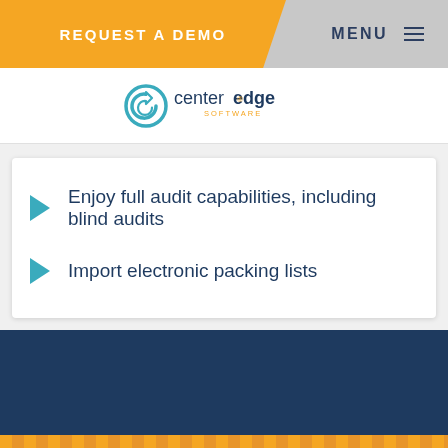REQUEST A DEMO | MENU
[Figure (logo): CenterEdge Software logo — circular C icon with 'centeredge' wordmark and 'SOFTWARE' subtitle]
Enjoy full audit capabilities, including blind audits
Import electronic packing lists
We use cookies to ensure that we give you the best experience on our website. If you continue to use this site we will assume you consent to our cookie policy.
Ok